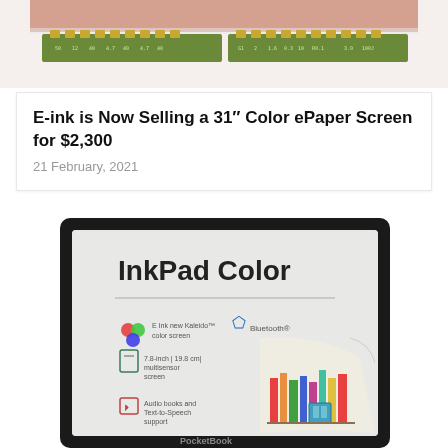[Figure (photo): Top portion showing a large color ePaper screen panel with connector ribbon cables on both sides against a light background]
E-ink is Now Selling a 31″ Color ePaper Screen for $2,300
21 February, 2021
[Figure (photo): PocketBook InkPad Color e-reader device showing its product marketing screen with 'InkPad Color' title, E Ink new Kaleido color screen, Bluetooth, 7.8-inch multisensor screen, and Audio books and Text-to-Speech support features listed, with a colorful bookshelf image on the display]